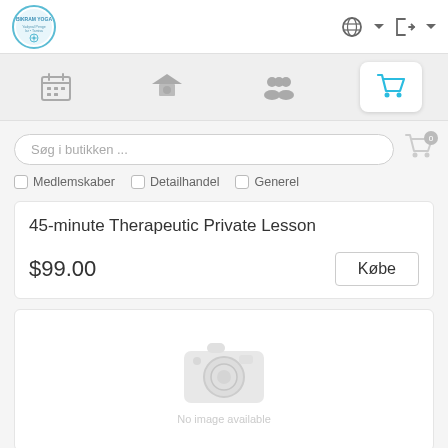[Figure (logo): Bikram Yoga studio logo — circular badge with blue border and text]
[Figure (screenshot): Navigation icons: calendar, graduation cap, people/community, shopping cart (active/highlighted in blue)]
Søg i butikken ...
Medlemskaber  Detailhandel  Generel
45-minute Therapeutic Private Lesson
$99.00
Købe
[Figure (illustration): No image available placeholder with camera icon and text 'No image available']